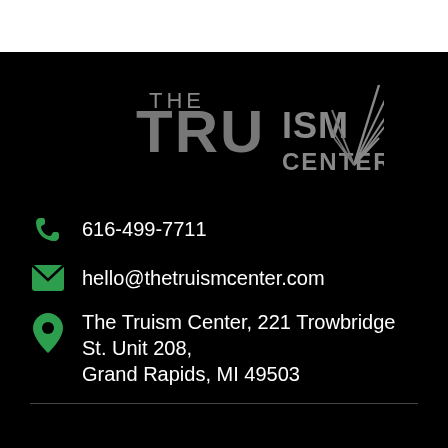[Figure (logo): The Truism Center logo with gray text and a feather/flame graphic]
616-499-7711
hello@thetruismcenter.com
The Truism Center, 221 Trowbridge St. Unit 208, Grand Rapids, MI 49503
Privacy Policy    Terms and Conditions